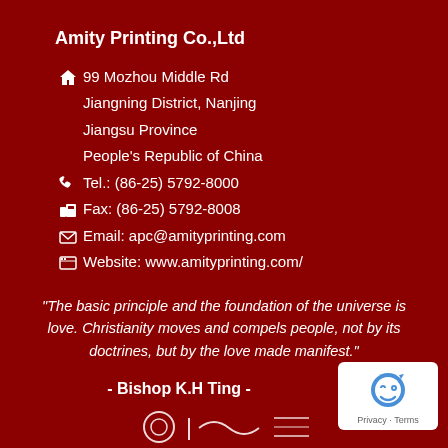Amity Printing Co.,Ltd
99 Mozhou Middle Rd
Jiangning District, Nanjing
Jiangsu Province
People's Republic of China
Tel.: (86-25) 5792-8000
Fax: (86-25) 5792-8008
Email: apc@amityprinting.com
Website: www.amityprinting.com/
“The basic principle and the foundation of the universe is love. Christianity moves and compels people, not by its doctrines, but by the love made manifest.”
- Bishop K.H Ting -